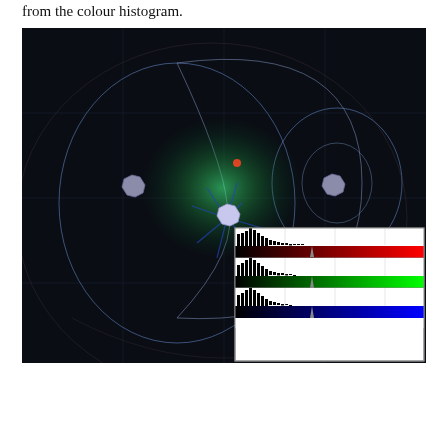from the colour histogram.
[Figure (illustration): Dark space-themed illustration showing three circular/elliptical orbital paths with three octagonal objects (grey/purple), a central bright green glow, and small bright spots. Overlaid in the bottom-right corner is a colour histogram panel showing three separate histograms for R, G, and B channels, each with a gradient colour bar below the histogram bars.]